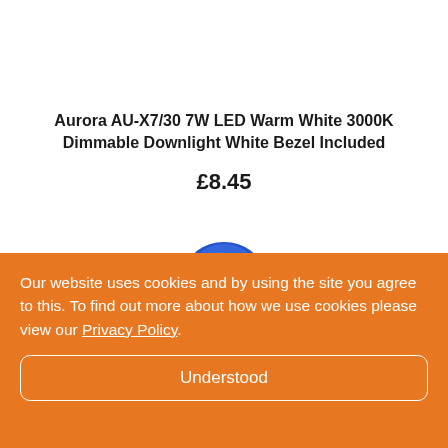Aurora AU-X7/30 7W LED Warm White 3000K Dimmable Downlight White Bezel Included
£8.45
[Figure (photo): Partial view of a blue Aurora LED downlight product]
Our website uses cookies and by using the site you agree to this. To find out more about how we use cookies please view our Privacy Policy.
Understood